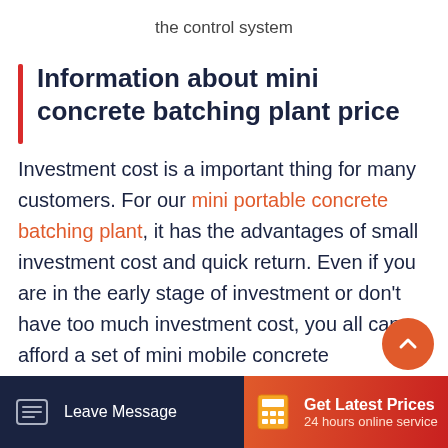the control system
Information about mini concrete batching plant price
Investment cost is a important thing for many customers. For our mini portable concrete batching plant, it has the advantages of small investment cost and quick return. Even if you are in the early stage of investment or don’t have too much investment cost, you all can afford a set of mini mobile concrete
Leave Message | Get Latest Prices | 24 hours online service